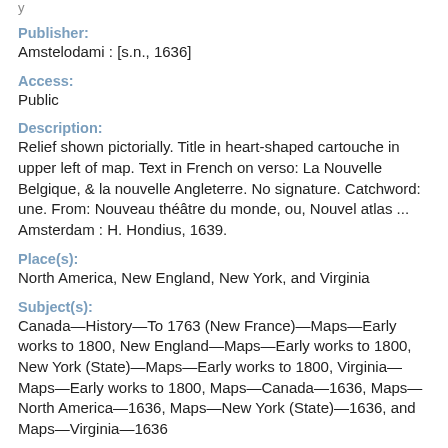Publisher:
Amstelodami : [s.n., 1636]
Access:
Public
Description:
Relief shown pictorially. Title in heart-shaped cartouche in upper left of map. Text in French on verso: La Nouvelle Belgique, & la nouvelle Angleterre. No signature. Catchword: une. From: Nouveau théâtre du monde, ou, Nouvel atlas ... Amsterdam : H. Hondius, 1639.
Place(s):
North America, New England, New York, and Virginia
Subject(s):
Canada—History—To 1763 (New France)—Maps—Early works to 1800, New England—Maps—Early works to 1800, New York (State)—Maps—Early works to 1800, Virginia—Maps—Early works to 1800, Maps—Canada—1636, Maps—North America—1636, Maps—New York (State)—1636, and Maps—Virginia—1636
Call number: